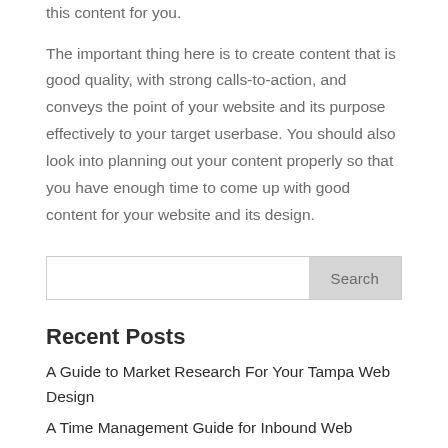this content for you.
The important thing here is to create content that is good quality, with strong calls-to-action, and conveys the point of your website and its purpose effectively to your target userbase. You should also look into planning out your content properly so that you have enough time to come up with good content for your website and its design.
Recent Posts
A Guide to Market Research For Your Tampa Web Design
A Time Management Guide for Inbound Web...